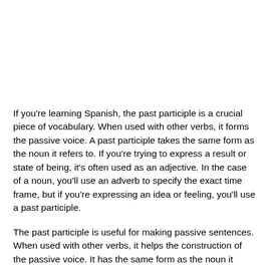If you're learning Spanish, the past participle is a crucial piece of vocabulary. When used with other verbs, it forms the passive voice. A past participle takes the same form as the noun it refers to. If you're trying to express a result or state of being, it's often used as an adjective. In the case of a noun, you'll use an adverb to specify the exact time frame, but if you're expressing an idea or feeling, you'll use a past participle.
The past participle is useful for making passive sentences. When used with other verbs, it helps the construction of the passive voice. It has the same form as the noun it refers to, but is used more often when used with an adverb or an irregular verb. It can also be used as an adjective to describe a condition. You should be able to use it with other verbs if they express a state or a...